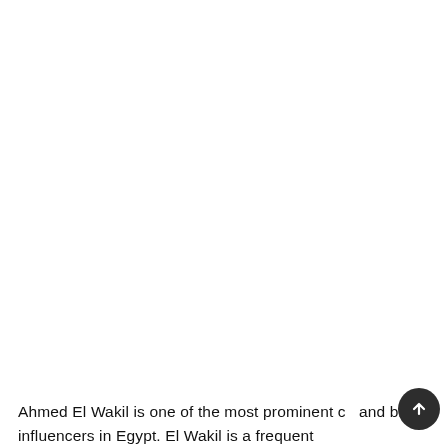Ahmed El Wakil is one of the most prominent c… and bike influencers in Egypt. El Wakil is a frequent